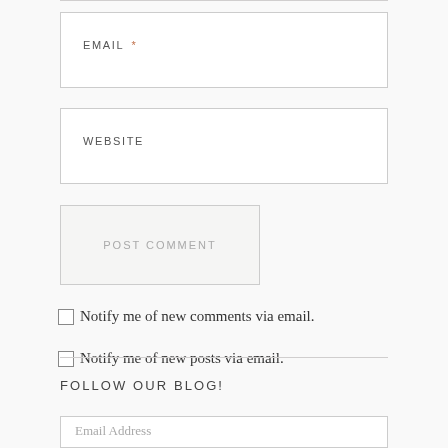EMAIL *
WEBSITE
POST COMMENT
Notify me of new comments via email.
Notify me of new posts via email.
FOLLOW OUR BLOG!
Email Address